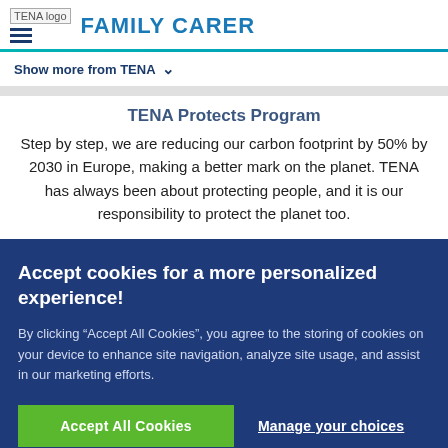TENA logo  FAMILY CARER
Show more from TENA
TENA Protects Program
Step by step, we are reducing our carbon footprint by 50% by 2030 in Europe, making a better mark on the planet. TENA has always been about protecting people, and it is our responsibility to protect the planet too.
Accept cookies for a more personalized experience!
By clicking “Accept All Cookies”, you agree to the storing of cookies on your device to enhance site navigation, analyze site usage, and assist in our marketing efforts.
Accept All Cookies   Manage your choices